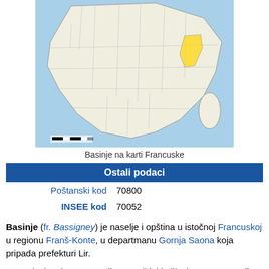[Figure (map): Map of France showing highlighted region of Basinje/Bassigney location in eastern France]
Basinje na karti Francuske
| Poštanski kod | 70800 |
| INSEE kod | 70052 |
Basinje (fr. Bassigney) je naselje i opština u istočnoj Francuskoj u regionu Franš-Konte, u departmanu Gornja Saona koja pripada prefekturi Lir.
Po podacima iz 1999. godine u opštini je živelo 116 stanovnika, a gustina naseljenosti je iznosila 18 stanovnika/km². Opština se prostire na površini od